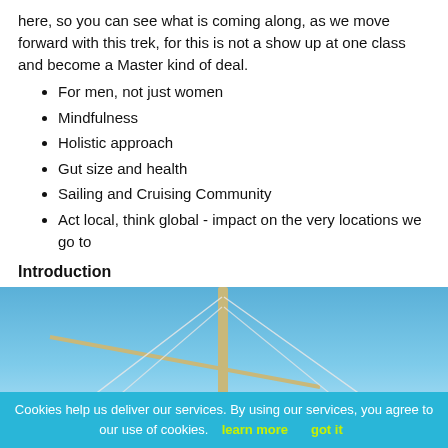here, so you can see what is coming along, as we move forward with this trek, for this is not a show up at one class and become a Master kind of deal.
For men, not just women
Mindfulness
Holistic approach
Gut size and health
Sailing and Cruising Community
Act local, think global - impact on the very locations we go to
Introduction
[Figure (photo): View from a sailboat deck looking forward along the mast and rigging toward a calm blue sea and distant hilly island under a clear blue sky.]
Cookies help us deliver our services. By using our services, you agree to our use of cookies. learn more   got it